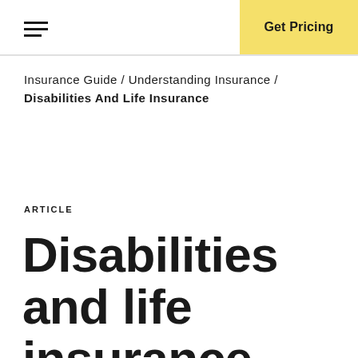Get Pricing
Insurance Guide / Understanding Insurance / Disabilities And Life Insurance
ARTICLE
Disabilities and life insurance